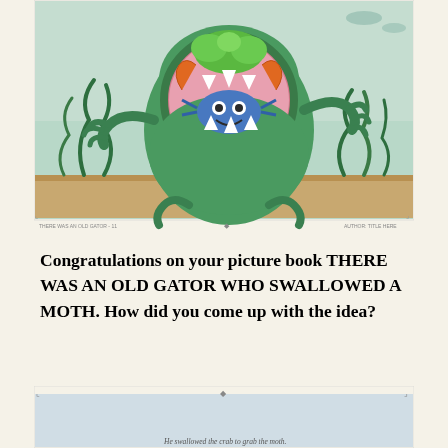[Figure (illustration): Children's picture book illustration showing a large green alligator/gator with its mouth wide open revealing a pink interior, inside which a blue crab is visible with orange claws. Green seaweed surrounds the scene against a light teal aquatic background.]
Congratulations on your picture book THERE WAS AN OLD GATOR WHO SWALLOWED A MOTH. How did you come up with the idea?
[Figure (illustration): Partial illustration showing top portion of another picture book page with a light blue/grey background, partially visible. Caption reads: He swallowed the crab to grab the moth.]